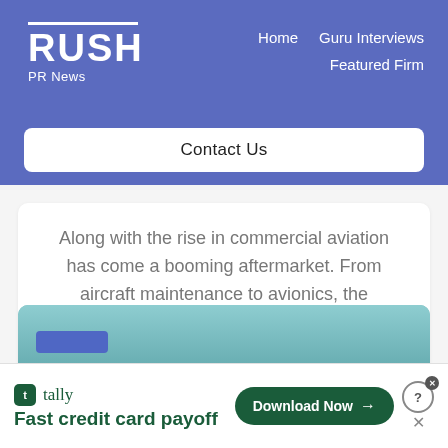RUSH PR News — Home | Guru Interviews | Featured Firm
Contact Us
Along with the rise in commercial aviation has come a booming aftermarket. From aircraft maintenance to avionics, the commercial aviation industry relies on these parts
[Figure (photo): Partial view of aircraft interior/exterior in teal/blue tones]
tally Fast credit card payoff Download Now →